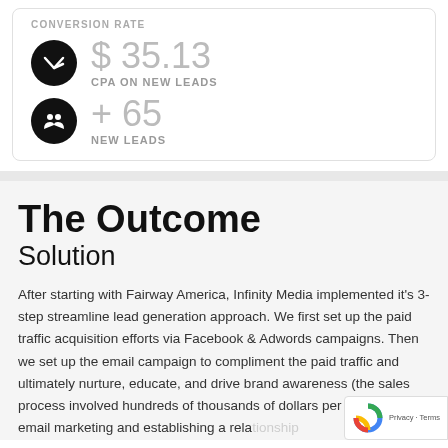CONVERSION RATE
$ 35.13
CPA ON NEW LEADS
+ 65
NEW LEADS
The Outcome
Solution
After starting with Fairway America, Infinity Media implemented it's 3-step streamline lead generation approach. We first set up the paid traffic acquisition efforts via Facebook & Adwords campaigns. Then we set up the email campaign to compliment the paid traffic and ultimately nurture, educate, and drive brand awareness (the sales process involved hundreds of thousands of dollars per transaction so email marketing and establishing a relationship